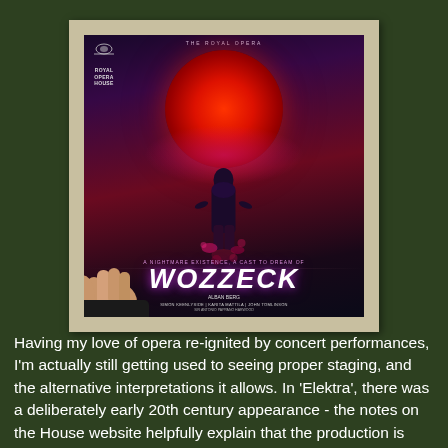[Figure (photo): A hand holding a Royal Opera House programme for 'Wozzeck' by Alban Berg. The programme cover shows a dramatic image with a large red moon, a silhouetted figure, and the title 'WOZZECK' in large stylised text. The background is dark purple/black with pink and red tones.]
Having my love of opera re-ignited by concert performances, I'm actually still getting used to seeing proper staging, and the alternative interpretations it allows. In 'Elektra', there was a deliberately early 20th century appearance - the notes on the House website helpfully explain that the production is designed to evoke the emergence of psychology and loosening of morals during that time, appropriate for the